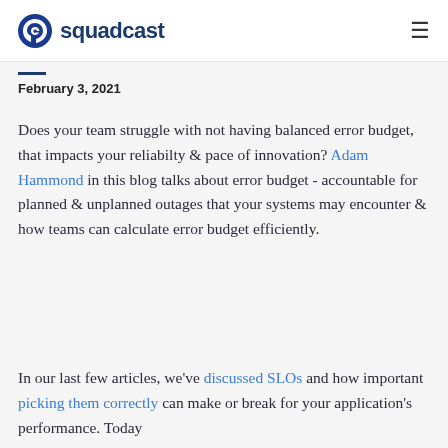squadcast
February 3, 2021
Does your team struggle with not having balanced error budget, that impacts your reliabilty & pace of innovation? Adam Hammond in this blog talks about error budget - accountable for planned & unplanned outages that your systems may encounter & how teams can calculate error budget efficiently.
In our last few articles, we've discussed SLOs and how important picking them correctly can make or break for your application's performance. Today